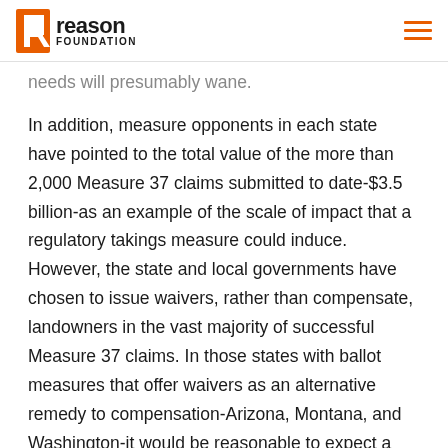Reason Foundation
needs will presumably wane.
In addition, measure opponents in each state have pointed to the total value of the more than 2,000 Measure 37 claims submitted to date-$3.5 billion-as an example of the scale of impact that a regulatory takings measure could induce. However, the state and local governments have chosen to issue waivers, rather than compensate, landowners in the vast majority of successful Measure 37 claims. In those states with ballot measures that offer waivers as an alternative remedy to compensation-Arizona, Montana, and Washington-it would be reasonable to expect a similar